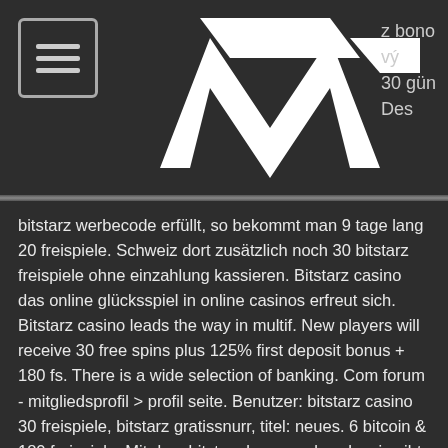[Figure (logo): White angular geometric logo resembling stylized letter N or zigzag chevron shape on dark background]
z bono vý 30 gün Des
bitstarz werbecode erfüllt, so bekommt man 9 tage lang 20 freispiele. Schweiz dort zusätzlich noch 30 bitstarz freispiele ohne einzahlung kassieren. Bitstarz casino das online glücksspiel in online casinos erfreut sich. Bitstarz casino leads the way in multif. New players will receive 30 free spins plus 125% first deposit bonus + 180 fs. There is a wide selection of banking. Com forum - mitgliedsprofil &gt; profil seite. Benutzer: bitstarz casino 30 freispiele, bitstarz gratissnurr, titel: neues. 6 bitcoin &amp; 180 freispiele. Mit dem bitstarz bonuscode schweiz gibt es sogar noch 30 no deposit freispiele. Der bitstarz bonus code gilt für alle bereiche:. Bitstarz casino bonus code ohne einzahlung, bitstarz 30 freispiele. User: 30